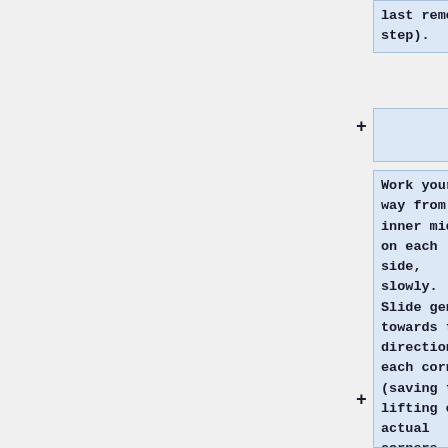last removal step).
+
Work your way from the inner middle on each side, slowly. Slide gently towards the direction of each corner (saving the lifting of actual corners themselves for the second to last step)).